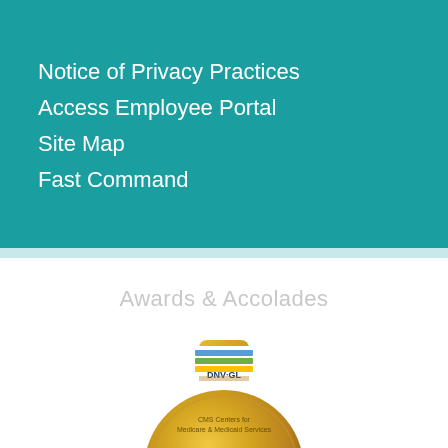Notice of Privacy Practices
Access Employee Portal
Site Map
Fast Command
Awards & Accolades
[Figure (logo): DNV-GL Accredited Hospital gold badge/medallion seal with blue DNV-GL logo at top and text 'CMS Centers for Medicare & Medicaid Services ACCREDITED Hospital' on gold circular badge]